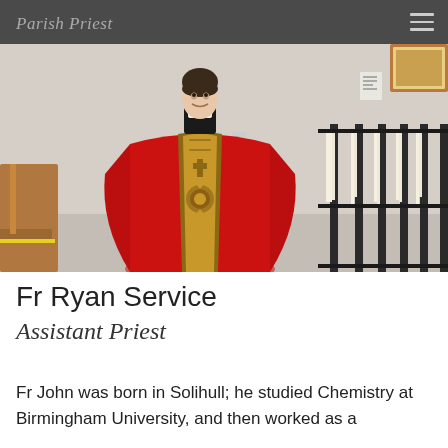Parish Priest
[Figure (photo): A young priest wearing red vestments with gold embroidery, standing in a church setting with pews and candle holders visible in the background.]
Fr Ryan Service
Assistant Priest
Fr John was born in Solihull; he studied Chemistry at Birmingham University, and then worked as a